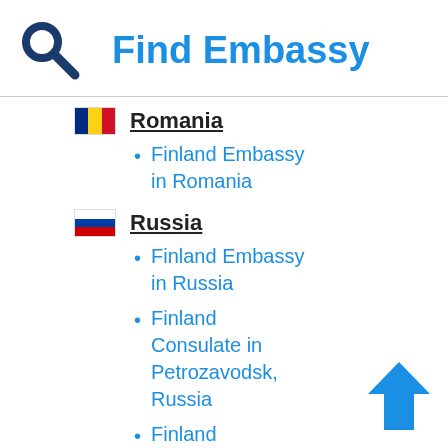Find Embassy
Romania
Finland Embassy in Romania
Russia
Finland Embassy in Russia
Finland Consulate in Petrozavodsk, Russia
Finland